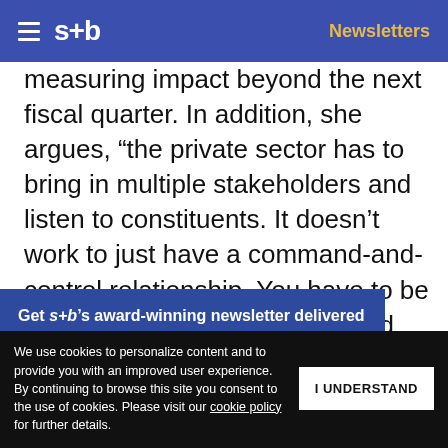s+b | Newsletters
measuring impact beyond the next fiscal quarter. In addition, she argues, “the private sector has to bring in multiple stakeholders and listen to constituents. It doesn’t work to just have a command-and-control relationship. You have to be much more partnership-oriented when you’re dealing with other countries.” Rotenberg also believes that businesses can help government
Get s+b’s award-winning newsletter delivered to your inbox.
We use cookies to personalize content and to provide you with an improved user experience. By continuing to browse this site you consent to the use of cookies. Please visit our cookie policy for further details.